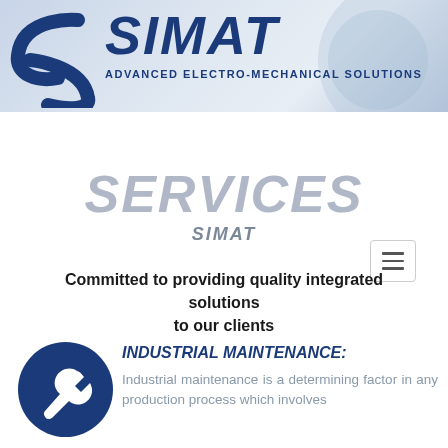[Figure (logo): SIMAT logo with blue S-curve and text 'SIMAT - ADVANCED ELECTRO-MECHANICAL SOLUTIONS' on a light blue background]
[Figure (other): Hamburger menu button (three horizontal lines in a bordered box)]
SERVICES
SIMAT
Committed to providing quality integrated solutions to our clients
[Figure (illustration): Dark blue circle with white wrench icon]
INDUSTRIAL MAINTENANCE:
Industrial maintenance is a determining factor in any production process which involves